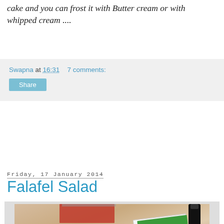cake and you can frost it with Butter cream or with whipped cream ....
Swapna at 16:31   7 comments:
Share
Friday, 17 January 2014
Falafel Salad
[Figure (photo): A falafel salad in a white bowl on a wooden cutting board, with a glass of water with lemon, cookbooks in the background, and a dark bottle of olive oil.]